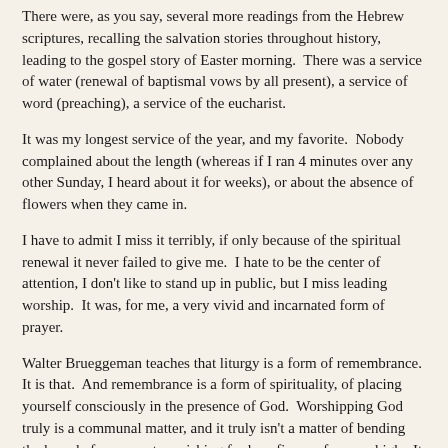There were, as you say, several more readings from the Hebrew scriptures, recalling the salvation stories throughout history, leading to the gospel story of Easter morning.  There was a service of water (renewal of baptismal vows by all present), a service of word (preaching), a service of the eucharist.
It was my longest service of the year, and my favorite.  Nobody complained about the length (whereas if I ran 4 minutes over any other Sunday, I heard about it for weeks), or about the absence of flowers when they came in.
I have to admit I miss it terribly, if only because of the spiritual renewal it never failed to give me.  I hate to be the center of attention, I don't like to stand up in public, but I miss leading worship.  It was, for me, a very vivid and incarnated form of prayer.
Walter Brueggeman teaches that liturgy is a form of remembrance.  It is that.  And remembrance is a form of spirituality, of placing yourself consciously in the presence of God.  Worshipping God truly is a communal matter, and it truly isn't a matter of bending the knee before a master, wishing for beneficence from on high.  It is